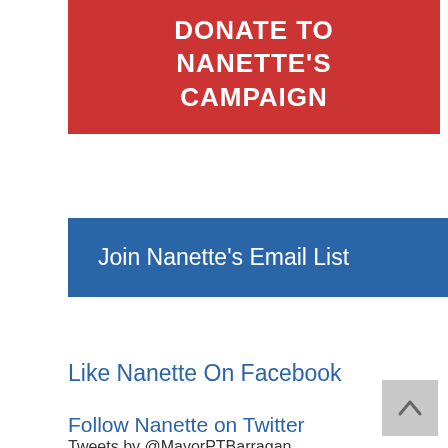DONATE TO NANETTE'S CAMPAIGN
Join Nanette's Email List
Like Nanette On Facebook
Follow Nanette on Twitter
Tweets by @MayorPTBarragan